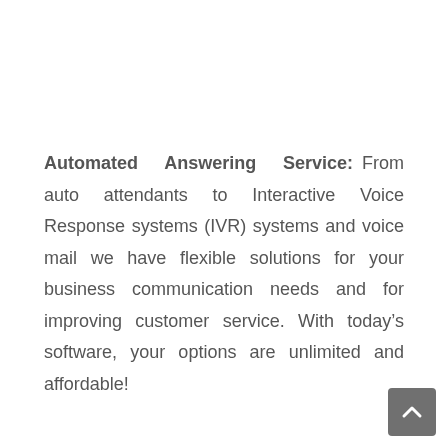Automated Answering Service: From auto attendants to Interactive Voice Response systems (IVR) systems and voice mail we have flexible solutions for your business communication needs and for improving customer service. With today’s software, your options are unlimited and affordable!